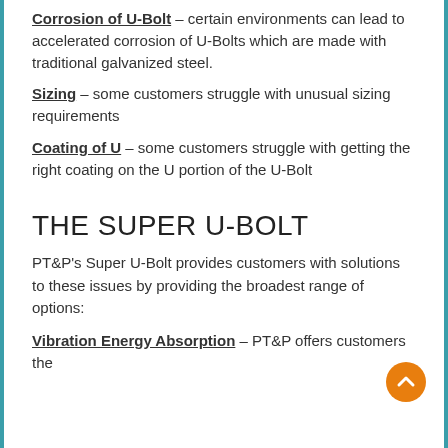Corrosion of U-Bolt – certain environments can lead to accelerated corrosion of U-Bolts which are made with traditional galvanized steel.
Sizing – some customers struggle with unusual sizing requirements
Coating of U – some customers struggle with getting the right coating on the U portion of the U-Bolt
THE SUPER U-BOLT
PT&P's Super U-Bolt provides customers with solutions to these issues by providing the broadest range of options:
Vibration Energy Absorption – PT&P offers customers the